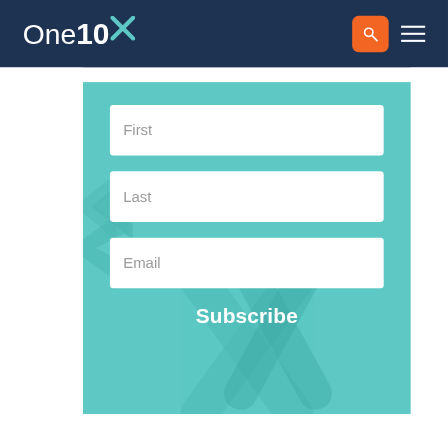[Figure (screenshot): One10 company logo with teal X mark on dark navy background navigation bar, with orange search button and hamburger menu icon on the right]
First
Last
Email
Subscribe